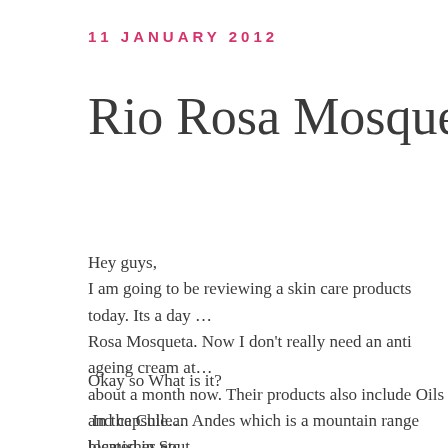11 JANUARY 2012
Rio Rosa Mosqueta Da…
Hey guys,
I am going to be reviewing a skin care products today. Its a day … Rosa Mosqueta. Now I don't really need an anti ageing cream at … about a month now. Their products also include Oils and capsule… blemishes etc.
Okay so What is it?
In the Chilean Andes which is a mountain range located in Sout… commonly known as Rosa Mosqueta. Rio Rosa Mosqueta oil is … that are very important  for the body to heal scar tissue. On their… Trans-Retinoic Acid - a natural form of Vitamin A. This natural…